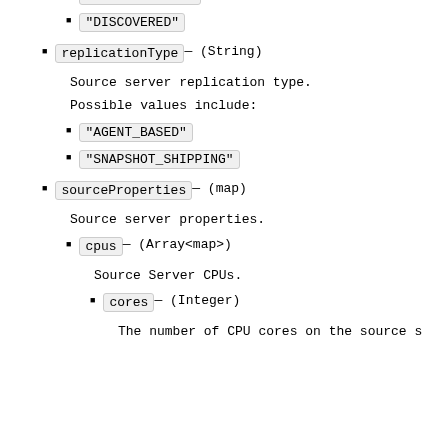"DISCONNECTED"
"DISCOVERED"
replicationType — (String)
Source server replication type.
Possible values include:
"AGENT_BASED"
"SNAPSHOT_SHIPPING"
sourceProperties — (map)
Source server properties.
cpus — (Array<map>)
Source Server CPUs.
cores — (Integer)
The number of CPU cores on the source s